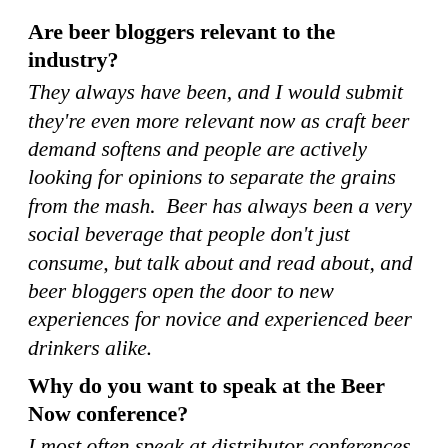Are beer bloggers relevant to the industry?
They always have been, and I would submit they're even more relevant now as craft beer demand softens and people are actively looking for opinions to separate the grains from the mash.  Beer has always been a very social beverage that people don't just consume, but talk about and read about, and beer bloggers open the door to new experiences for novice and experienced beer drinkers alike.
Why do you want to speak at the Beer Now conference?
I most often speak at distributor conferences and brewer sales meetings and the like…